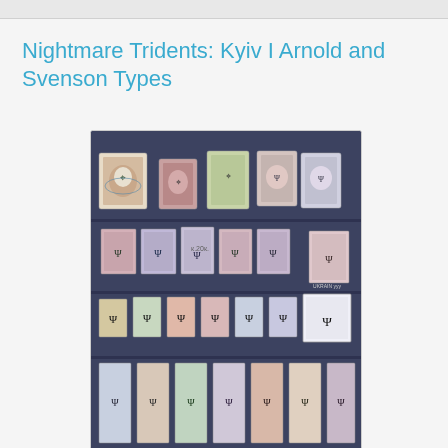Nightmare Tridents: Kyiv I Arnold and Svenson Types
[Figure (photo): A dark blue-grey stamp album page showing three rows of Ukrainian trident overprint stamps. Row 1 contains 5 large imperforate stamps on cover pieces showing Russian imperial eagle designs with trident overprints. Row 2 contains approximately 7 smaller perforated stamps with trident overprints in various colors. Row 3 contains approximately 8 smaller stamps with black trident overprints on various denominations. A partial fourth row is visible at the bottom with additional stamps.]